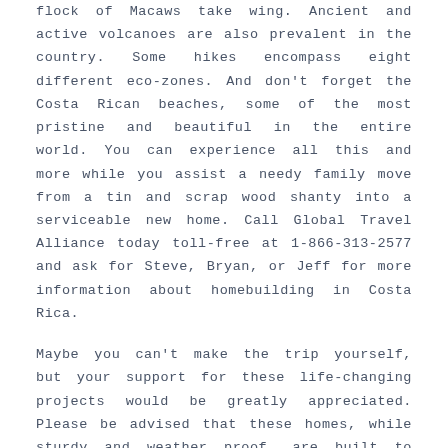flock of Macaws take wing. Ancient and active volcanoes are also prevalent in the country. Some hikes encompass eight different eco-zones. And don't forget the Costa Rican beaches, some of the most pristine and beautiful in the entire world. You can experience all this and more while you assist a needy family move from a tin and scrap wood shanty into a serviceable new home. Call Global Travel Alliance today toll-free at 1-866-313-2577 and ask for Steve, Bryan, or Jeff for more information about homebuilding in Costa Rica.
Maybe you can't make the trip yourself, but your support for these life-changing projects would be greatly appreciated. Please be advised that these homes, while sturdy and weather proof, are built to very minimum standards. They total 600 square feet with a common area and two bedrooms. The bathroom facilities and cooking area are outside. Materials for one home cost in the range of $7000. Thank you for considering supporting our homebuilding projects in Costa Rica.
As the group coordinator and Global Travel Alliance Vice